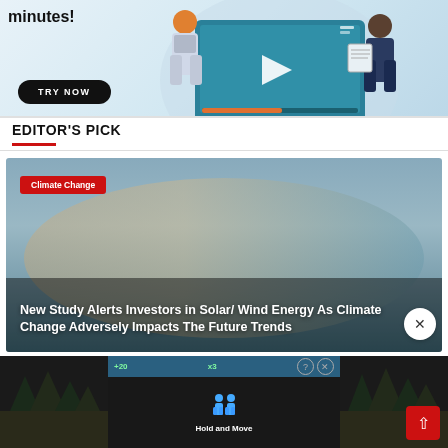[Figure (illustration): Advertisement banner showing two illustrated people with a video screen and a TRY NOW button]
EDITOR'S PICK
[Figure (photo): Editor's Pick card with climate/sky background, red Category tag 'Climate Change', article headline about solar/wind energy and climate change]
Climate Change
New Study Alerts Investors in Solar/ Wind Energy As Climate Change Adversely Impacts The Future Trends
[Figure (screenshot): Bottom advertisement overlay showing Hold and Move game ad with question and close buttons, and back-to-top button]